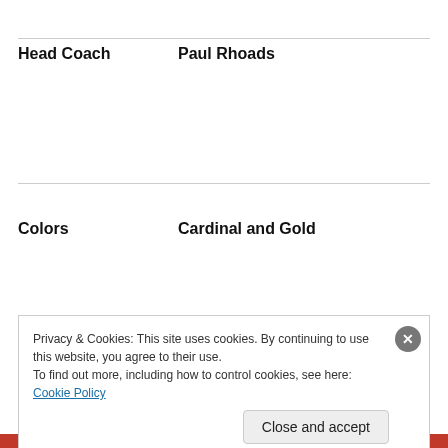| Field | Value |
| --- | --- |
| Head Coach | Paul Rhoads |
| Colors | Cardinal and Gold |
| City | Ames, IA |
Privacy & Cookies: This site uses cookies. By continuing to use this website, you agree to their use.
To find out more, including how to control cookies, see here: Cookie Policy
Close and accept